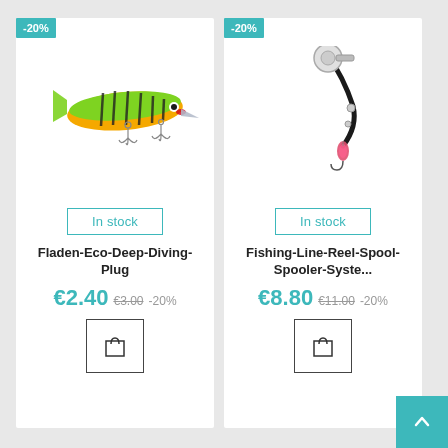[Figure (illustration): Product card 1: Fishing lure (green/orange with black stripes and treble hooks) with -20% badge, In stock button, product name, price]
-20%
In stock
Fladen-Eco-Deep-Diving-Plug
€2.40  €3.00  -20%
[Figure (illustration): Product card 2: Fishing line reel spool spooler system image with -20% badge, In stock button, product name, price]
-20%
In stock
Fishing-Line-Reel-Spool-Spooler-Syste...
€8.80  €11.00  -20%